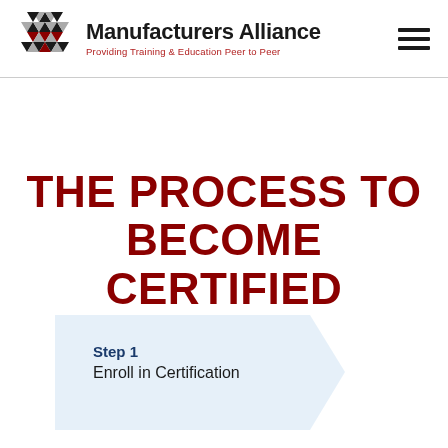Manufacturers Alliance — Providing Training & Education Peer to Peer
THE PROCESS TO BECOME CERTIFIED
Step 1 — Enroll in Certification